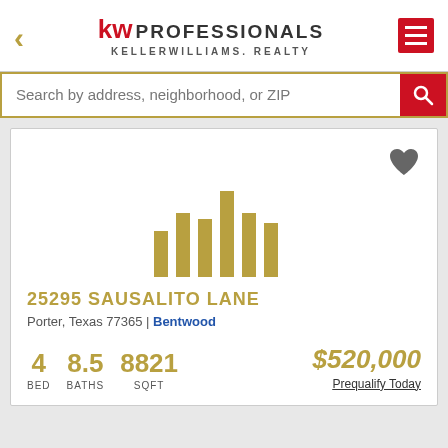[Figure (logo): KW Professionals Keller Williams Realty logo with back arrow and hamburger menu]
Search by address, neighborhood, or ZIP
[Figure (illustration): KW bar chart icon placeholder for property listing image with heart/favorite icon]
25295 SAUSALITO LANE
Porter, Texas 77365 | Bentwood
4 BED   8.5 BATHS   8821 SQFT   $520,000   Prequalify Today